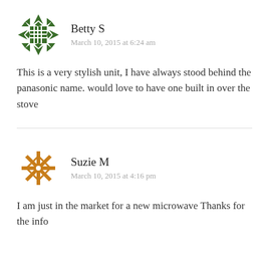[Figure (illustration): Green geometric/quilt pattern avatar for Betty S]
Betty S
March 10, 2015 at 6:24 am
This is a very stylish unit, I have always stood behind the panasonic name. would love to have one built in over the stove
[Figure (illustration): Orange/gold snowflake pattern avatar for Suzie M]
Suzie M
March 10, 2015 at 4:16 pm
I am just in the market for a new microwave Thanks for the info